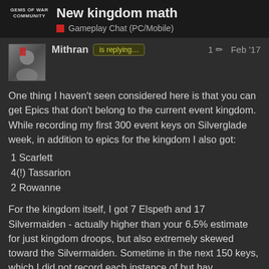New kingdom math — Gameplay Chat (PC/Mobile)
Mithran is replying… 1 Feb '17
One thing I haven't seen considered here is that you can get Epics that don't belong to the current event kingdom. While recording my first 300 event keys on Silverglade week, in addition to epics for the kingdom I also got:
1 Scarlett
4(!) Tassarion
2 Rowanne
For the kingdom itself, I got 7 Elspeth and 17 Silvermaiden - actually higher than your 6.5% estimate for just kingdom droops, but also extremely skewed toward the Silvermaiden. Sometime in the next 150 keys, which I did not record each instance of but have a bunch of screenshots around the time, I Elspeths and 3 more Silvermai